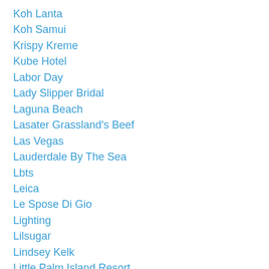Koh Lanta
Koh Samui
Krispy Kreme
Kube Hotel
Labor Day
Lady Slipper Bridal
Laguna Beach
Lasater Grassland's Beef
Las Vegas
Lauderdale By The Sea
Lbts
Leica
Le Spose Di Gio
Lighting
Lilsugar
Lindsey Kelk
Little Palm Island Resort
Live
Local Hb
Lodging